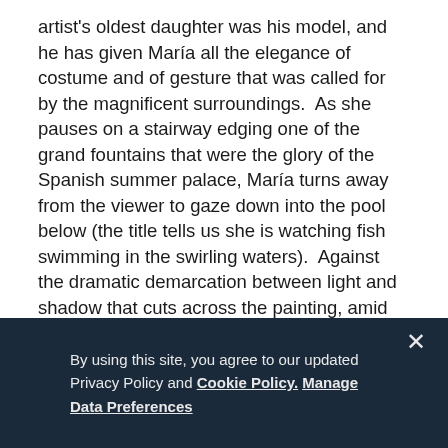artist's oldest daughter was his model, and he has given María all the elegance of costume and of gesture that was called for by the magnificent surroundings.  As she pauses on a stairway edging one of the grand fountains that were the glory of the Spanish summer palace, María turns away from the viewer to gaze down into the pool below (the title tells us she is watching fish swimming in the swirling waters).  Against the dramatic demarcation between light and shadow that cuts across the painting, amid the complex ordering of strong colors near and far, María's interrupted movement provides graceful mystery and explanatory structure in equal measure to one of Sorolla's most beautiful, most modern paintings.
The royal commission that brought Sorolla to La Granja to paint the king and queen in 1907 was an important moment in an
By using this site, you agree to our updated Privacy Policy and Cookie Policy.  Manage Data Preferences